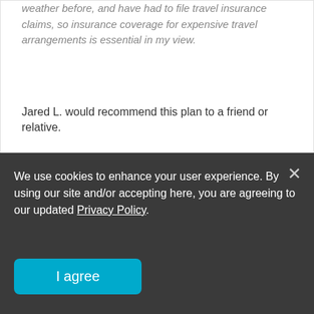weather before, and have had to file travel insurance claims, so insurance coverage for expensive travel arrangements is essential in my view.
Jared L. would recommend this plan to a friend or relative.
[Figure (other): Thumbs up and thumbs down icons for voting on helpfulness of review]
| Category | Rating |
| --- | --- |
| Coverage | 5 stars |
| Value | 5 stars |
| Satisfaction | 5 stars |
| Claims | not filed |
Note: This review is for an earlier version of the plan.
We use cookies to enhance your user experience. By using our site and/or accepting here, you are agreeing to our updated Privacy Policy.
I agree